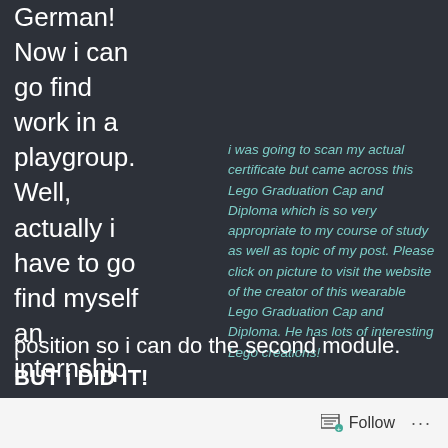German! Now i can go find work in a playgroup. Well, actually i have to go find myself an internship position so i can do the second module. BUT i DID IT!
i was going to scan my actual certificate but came across this Lego Graduation Cap and Diploma which is so very appropriate to my course of study as well as topic of my post. Please click on picture to visit the website of the creator of this wearable Lego Graduation Cap and Diploma. He has lots of interesting Lego creations!
It has taken me 10 months. However, it was a fun-filled and knowledge-gaining 10 months! i so loved being back in the classroom, even if it is only one Saturday a month. It was difficult at times to understand some parts (this is
Follow ···